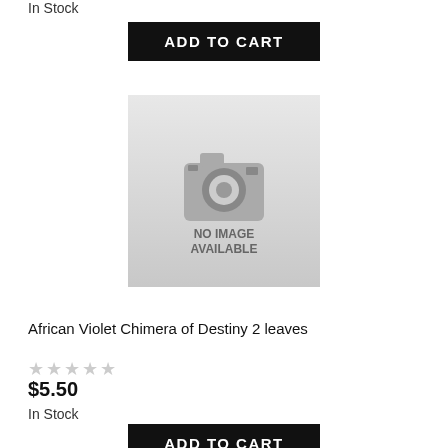In Stock
[Figure (other): Add to Cart button (black rectangle with white text)]
[Figure (photo): No image available placeholder with camera icon and text NO IMAGE AVAILABLE]
African Violet Chimera of Destiny 2 leaves
[Figure (other): Five empty star rating icons in gray]
$5.50
In Stock
[Figure (other): Add to Cart button (black rectangle with white text)]